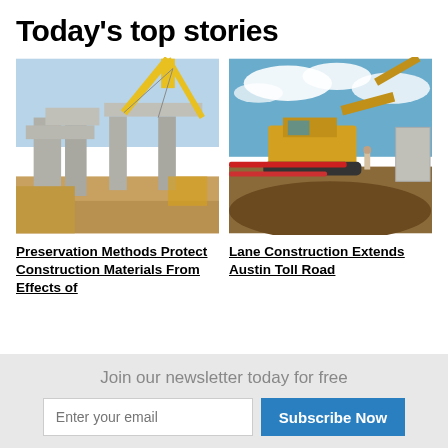Today's top stories
[Figure (photo): Construction site with yellow crane and concrete bridge pillars under construction]
[Figure (photo): Yellow excavator on a construction site extending a road, with red barriers and dirt mounds]
Preservation Methods Protect Construction Materials From Effects of
Lane Construction Extends Austin Toll Road
Join our newsletter today for free